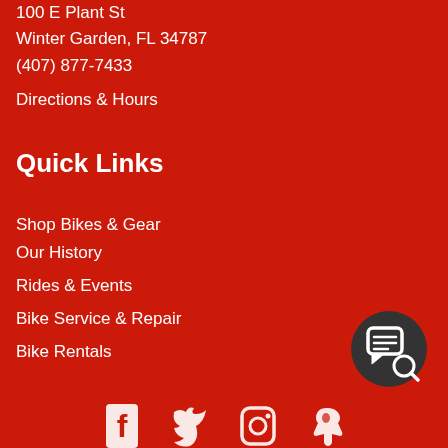100 E Plant St
Winter Garden, FL 34787
(407) 877-7433
Directions & Hours
Quick Links
Shop Bikes & Gear
Our History
Rides & Events
Bike Service & Repair
Bike Rentals
[Figure (illustration): Dark circular chat/messaging button icon in bottom right corner]
[Figure (illustration): Social media icons at bottom: Facebook, Twitter, Instagram, Yelp]